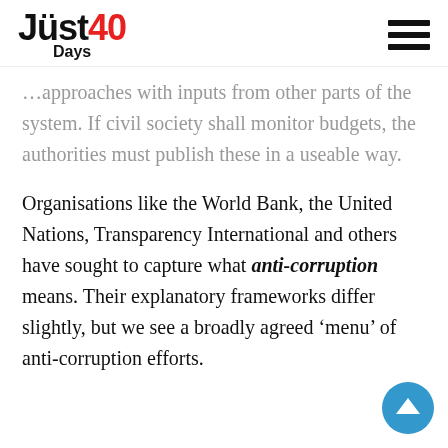Just40 Days
approaches with inputs from other parts of the system. If civil society shall monitor budgets, the authorities must publish these in a useable way.
Organisations like the World Bank, the United Nations, Transparency International and others have sought to capture what anti-corruption means. Their explanatory frameworks differ slightly, but we see a broadly agreed ‘menu’ of anti-corruption efforts.